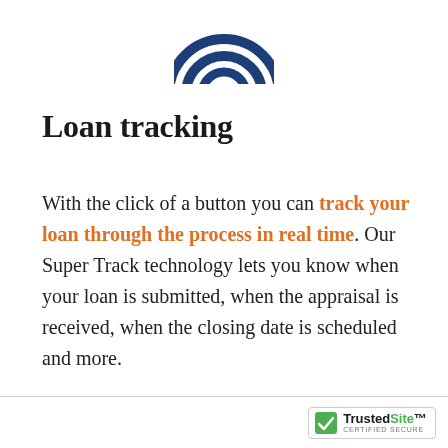[Figure (logo): Blue circular logo/icon partially visible at top center of page]
Loan tracking
With the click of a button you can track your loan through the process in real time. Our Super Track technology lets you know when your loan is submitted, when the appraisal is received, when the closing date is scheduled and more.
[Figure (logo): TrustedSite Certified Secure badge in bottom right corner]